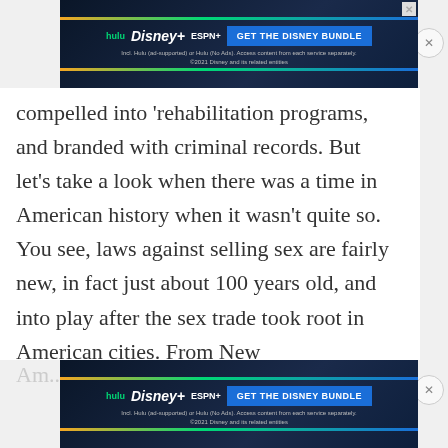[Figure (other): Disney Bundle advertisement banner (top) showing Hulu, Disney+, ESPN+ logos with 'GET THE DISNEY BUNDLE' button on dark blue background]
compelled into 'rehabilitation programs, and branded with criminal records. But let's take a look when there was a time in American history when it wasn't quite so. You see, laws against selling sex are fairly new, in fact just about 100 years old, and into play after the sex trade took root in American cities. From New
Am...
[Figure (other): Disney Bundle advertisement banner (bottom) showing Hulu, Disney+, ESPN+ logos with 'GET THE DISNEY BUNDLE' button on dark blue background]